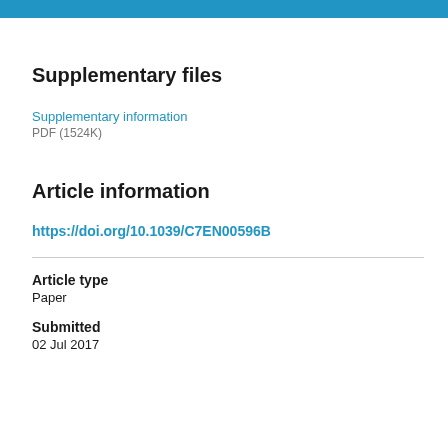Supplementary files
Supplementary information
PDF (1524K)
Article information
https://doi.org/10.1039/C7EN00596B
Article type
Paper
Submitted
02 Jul 2017